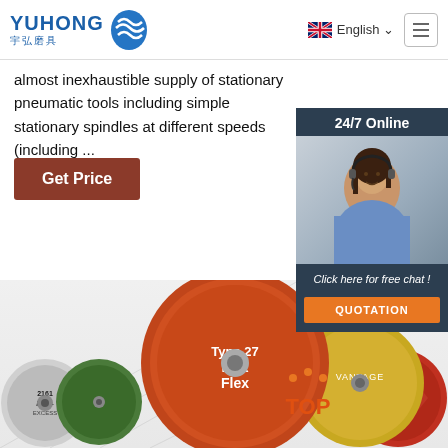[Figure (logo): Yuhong logo with blue wave icon and Chinese characters 宇弘磨具]
[Figure (screenshot): Navigation bar with English language selector and hamburger menu]
almost inexhaustible supply of stationary pneumatic tools including simple stationary spindles at different speeds (including ...
Get Price
[Figure (infographic): 24/7 Online chat widget with customer service representative photo, 'Click here for free chat!' text and QUOTATION button]
[Figure (photo): Product photo showing various grinding/cutting discs including Type 27 Max Flex disc and other abrasive wheels]
[Figure (logo): TOP logo with orange dots and letters]